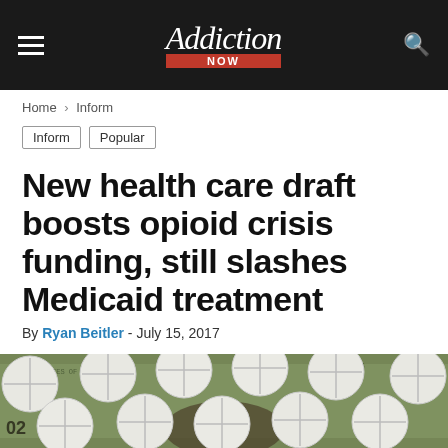Addiction Now
Home › Inform
Inform
Popular
New health care draft boosts opioid crisis funding, still slashes Medicaid treatment
By Ryan Beitler - July 15, 2017
[Figure (photo): White round pills with score lines scattered over US hundred dollar bills]